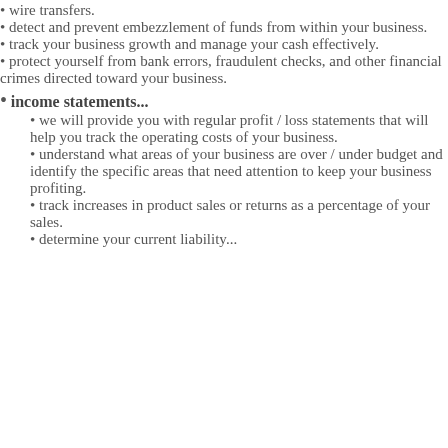wire transfers.
detect and prevent embezzlement of funds from within your business.
track your business growth and manage your cash effectively.
protect yourself from bank errors, fraudulent checks, and other financial crimes directed toward your business.
income statements...
we will provide you with regular profit / loss statements that will help you track the operating costs of your business.
understand what areas of your business are over / under budget and identify the specific areas that need attention to keep your business profiting.
track increases in product sales or returns as a percentage of your sales.
determine your current liability...